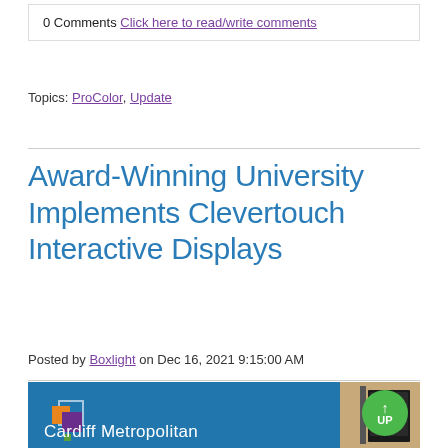0 Comments Click here to read/write comments
Topics: ProColor, Update
Award-Winning University Implements Clevertouch Interactive Displays
Posted by Boxlight on Dec 16, 2021 9:15:00 AM
[Figure (photo): Cardiff Metropolitan University banner image with logo squares (orange, purple, green) on blue background and a mounted display/monitor on right side, with a green UP circle button overlay]